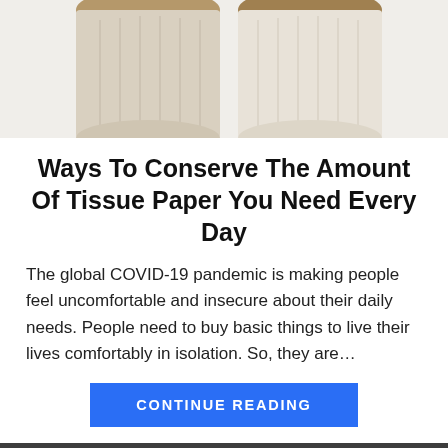[Figure (photo): Photo of toilet paper rolls from above, partially cropped at top of page]
Ways To Conserve The Amount Of Tissue Paper You Need Every Day
The global COVID-19 pandemic is making people feel uncomfortable and insecure about their daily needs. People need to buy basic things to live their lives comfortably in isolation. So, they are...
CONTINUE READING
ABOUT AUTHOR
[Figure (photo): Author photo, partially visible at bottom of page]